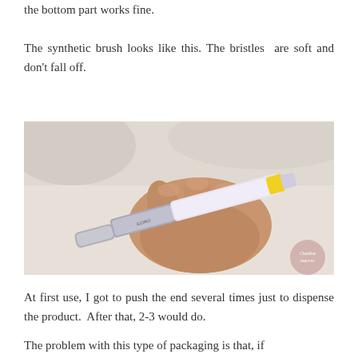the bottom part works fine.
The synthetic brush looks like this. The bristles are soft and don't fall off.
[Figure (photo): A hand gripping a small cosmetic pen/brush applicator product with a silver tip and yellow accent, held horizontally against a light background. A watermark logo is visible in the bottom right corner.]
At first use, I got to push the end several times just to dispense the product.  After that, 2-3 would do.
The problem with this type of packaging is that, if